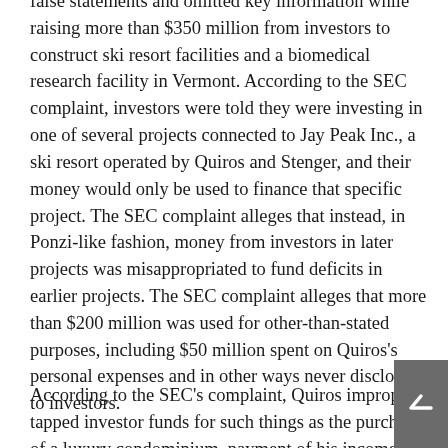false statements and omitted key information while raising more than $350 million from investors to construct ski resort facilities and a biomedical research facility in Vermont. According to the SEC complaint, investors were told they were investing in one of several projects connected to Jay Peak Inc., a ski resort operated by Quiros and Stenger, and their money would only be used to finance that specific project. The SEC complaint alleges that instead, in Ponzi-like fashion, money from investors in later projects was misappropriated to fund deficits in earlier projects. The SEC complaint alleges that more than $200 million was used for other-than-stated purposes, including $50 million spent on Quiros's personal expenses and in other ways never disclosed to investors.
According to the SEC's complaint, Quiros improperly tapped investor funds for such things as the purchase of a luxury condominium, payment of his income taxes and other taxes unrelated to the investments, and acquisition of an unrelated ski resort. The SEC's complaint charges Quiros,